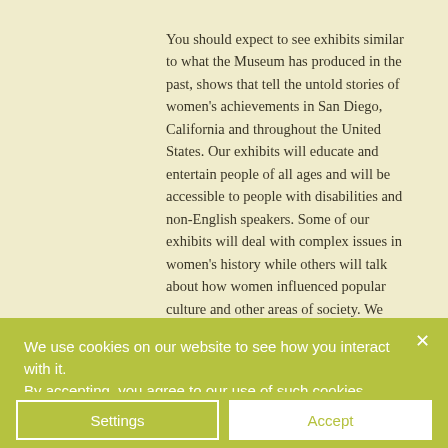You should expect to see exhibits similar to what the Museum has produced in the past, shows that tell the untold stories of women's achievements in San Diego, California and throughout the United States. Our exhibits will educate and entertain people of all ages and will be accessible to people with disabilities and non-English speakers. Some of our exhibits will deal with complex issues in women's history while others will talk about how women influenced popular culture and other areas of society. We will integrate items from our own archive with those we borrow from other institutions to provide context and deepen our learning.
We use cookies on our website to see how you interact with it. By accepting, you agree to our use of such cookies.
Settings
Accept